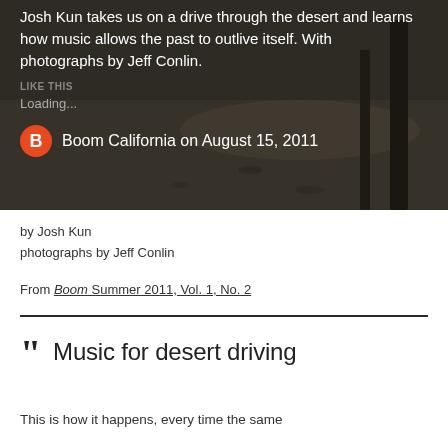[Figure (photo): Dark grayscale desert landscape photograph with sandy ground and dark vertical poles/objects. Text overlay describes the article.]
Josh Kun takes us on a drive through the desert and learns how music allows the past to outlive itself. With photographs by Jeff Conlin.
LIKE THIS
Loading...
Boom California on August 15, 2011
by Josh Kun
photographs by Jeff Conlin
From Boom Summer 2011, Vol. 1, No. 2
Music for desert driving
This is how it happens, every time the same